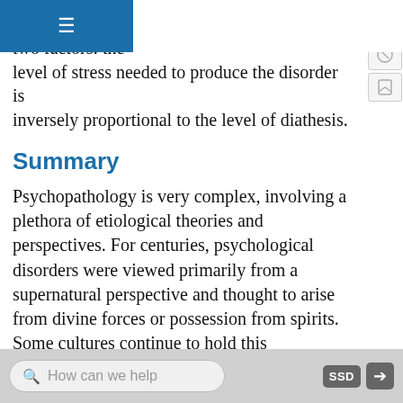...velopment of a disorder. Different models the relationship between the two factors: the level of stress needed to produce the disorder is inversely proportional to the level of diathesis.
Summary
Psychopathology is very complex, involving a plethora of etiological theories and perspectives. For centuries, psychological disorders were viewed primarily from a supernatural perspective and thought to arise from divine forces or possession from spirits. Some cultures continue to hold this supernatural belief. Today, many who study psychopathology view mental illness from a biological perspective, whereby psychological disorders are thought to result largely from faulty